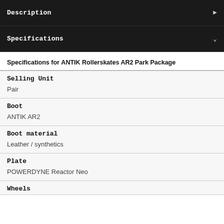Description
Specifications
Specifications for ANTIK Rollerskates AR2 Park Package
| Attribute | Value |
| --- | --- |
| Selling Unit | Pair |
| Boot | ANTIK AR2 |
| Boot material | Leather / synthetics |
| Plate | POWERDYNE Reactor Neo |
| Wheels |  |